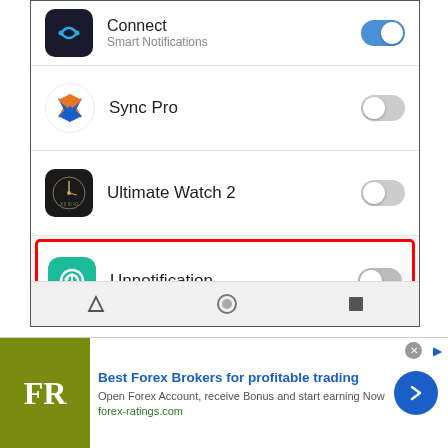[Figure (screenshot): Android notification settings screen showing app list with toggles: Connect (Smart Notifications, on), Sync Pro (off), Ultimate Watch 2 (off), Unnotification (off, highlighted with red border). Navigation bar at bottom.]
A warning will pop up—just tap “Allow” to turn the service on.
[Figure (infographic): Advertisement banner for Best Forex Brokers. FR logo in olive/green square. Text: Best Forex Brokers for profitable trading. Open Forex Account, receive Bonus and start earning Now. forex-ratings.com. Blue arrow button on right.]